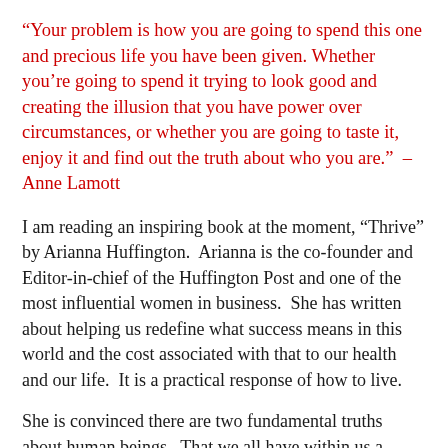“Your problem is how you are going to spend this one and precious life you have been given. Whether you’re going to spend it trying to look good and creating the illusion that you have power over circumstances, or whether you are going to taste it, enjoy it and find out the truth about who you are.”  – Anne Lamott
I am reading an inspiring book at the moment, “Thrive” by Arianna Huffington.  Arianna is the co-founder and Editor-in-chief of the Huffington Post and one of the most influential women in business.  She has written about helping us redefine what success means in this world and the cost associated with that to our health and our life.  It is a practical response of how to live.
She is convinced there are two fundamental truths about human beings.  That we all have within us a centered place of wisdom, harmony and strength and that the kingdoms of God is within us always, free. The...